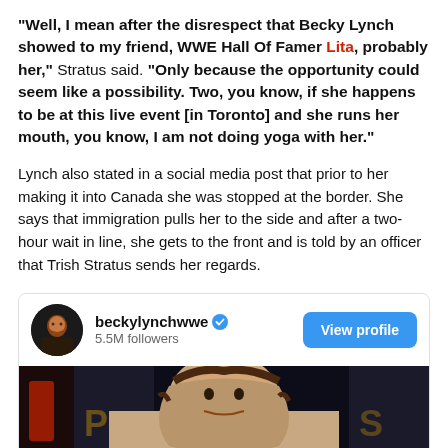“Well, I mean after the disrespect that Becky Lynch showed to my friend, WWE Hall Of Famer Lita, probably her,” Stratus said. “Only because the opportunity could seem like a possibility. Two, you know, if she happens to be at this live event [in Toronto] and she runs her mouth, you know, I am not doing yoga with her.”
Lynch also stated in a social media post that prior to her making it into Canada she was stopped at the border. She says that immigration pulls her to the side and after a two-hour wait in line, she gets to the front and is told by an officer that Trish Stratus sends her regards.
[Figure (screenshot): Instagram social card for beckylynchwwe showing profile picture, 5.5M followers, a View profile button, and a photo of a woman with long brown hair at what appears to be a dark event venue.]